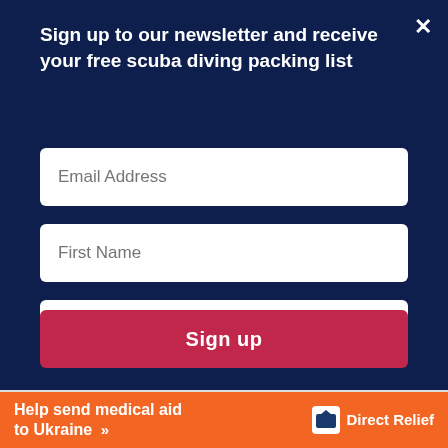Sign up to our newsletter and receive your free scuba diving packing list
Email Address
First Name
Certification
Sign up
Seas
Review
[Figure (infographic): Orange Direct Relief advertisement banner reading 'Help send medical aid to Ukraine >>']